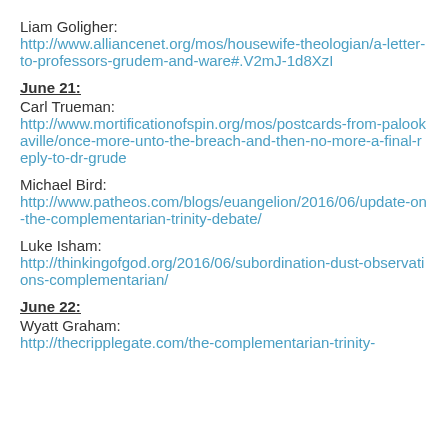Liam Goligher:
http://www.alliancenet.org/mos/housewife-theologian/a-letter-to-professors-grudem-and-ware#.V2mJ-1d8XzI
June 21:
Carl Trueman:
http://www.mortificationofspin.org/mos/postcards-from-palookaville/once-more-unto-the-breach-and-then-no-more-a-final-reply-to-dr-grude
Michael Bird:
http://www.patheos.com/blogs/euangelion/2016/06/update-on-the-complementarian-trinity-debate/
Luke Isham:
http://thinkingofgod.org/2016/06/subordination-dust-observations-complementarian/
June 22:
Wyatt Graham:
http://thecripplegate.com/the-complementarian-trinity-